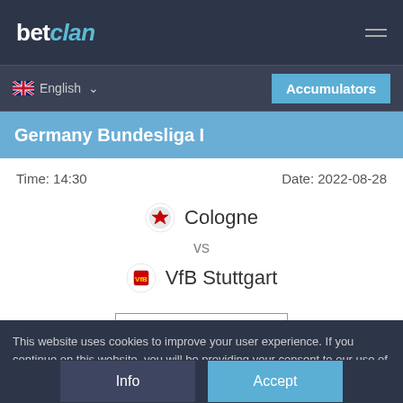betclan
English
Accumulators
Germany Bundesliga I
Time: 14:30
Date: 2022-08-28
Cologne vs VfB Stuttgart
View Prediction
This website uses cookies to improve your user experience. If you continue on this website, you will be providing your consent to our use of cookies.
Info
Accept